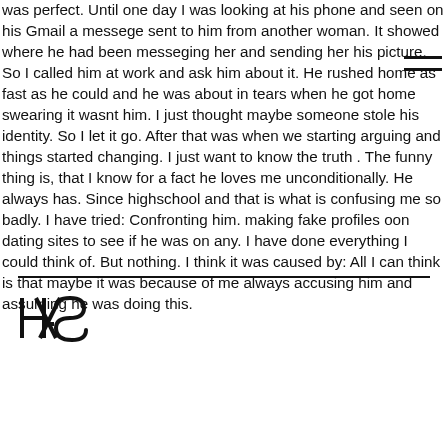was perfect. Until one day I was looking at his phone and seen on his Gmail a messege sent to him from another woman. It showed where he had been messeging her and sending her his picture. So I called him at work and ask him about it. He rushed home as fast as he could and he was about in tears when he got home swearing it wasnt him. I just thought maybe someone stole his identity. So I let it go. After that was when we starting arguing and things started changing. I just want to know the truth . The funny thing is, that I know for a fact he loves me unconditionally. He always has. Since highschool and that is what is confusing me so badly. I have tried: Confronting him. making fake profiles oon dating sites to see if he was on any. I have done everything I could think of. But nothing. I think it was caused by: All I can think is that maybe it was because of me always accusing him and assuming he was doing this.
[Figure (logo): HAS logo in a stylized monogram typeface]